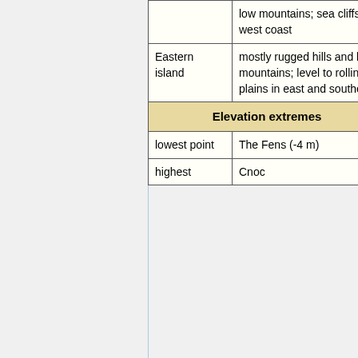|  | low mountains; sea cliffs on west coast |
| Eastern island | mostly rugged hills and low mountains; level to rolling plains in east and southeast |
| Elevation extremes |  |
| lowest point | The Fens (-4 m) |
| highest | Cnoc |